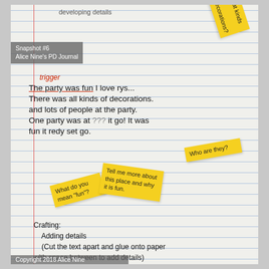[Figure (photo): A photograph of a student's handwritten PD journal page on lined paper with yellow sticky note annotations. The journal shows a child's writing about a party, with handwritten teacher feedback on yellow sticky notes. The page includes the text 'trigger', 'The party was fun I love rys...', 'There was all kinds of decorations.', 'and lots of people at the party.', 'One party was at ??? it go! It was', 'fun it redy set go.' Below is a Crafting section: 'Adding details (Cut the text apart and glue onto paper with space between to add details)']
Snapshot #6
Alice Nine's PD Journal
trigger
The party was fun I love rys...
There was all kinds of decorations.
and lots of people at the party.
One party was at ??? it go! It was
fun it redy set go.
What kinds of decorations?
Who are they?
What do you mean "fun"?
Tell me more about this place and why it is fun.
Crafting:
    Adding details
    (Cut the text apart and glue onto paper
with space between to add details)
Copyright 2018 Alice Nine